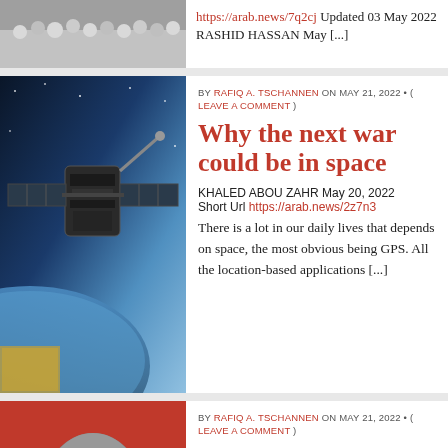[Figure (photo): Partial view of crowd/gathering at top left]
https://arab.news/7q2cj Updated 03 May 2022 RASHID HASSAN May [...]
[Figure (photo): Space station/satellite with solar panels against Earth and space background]
BY RAFIQ A. TSCHANNEN ON MAY 21, 2022 • ( LEAVE A COMMENT )
Why the next war could be in space
KHALED ABOU ZAHR May 20, 2022 Short Url https://arab.news/2z7n3 There is a lot in our daily lives that depends on space, the most obvious being GPS. All the location-based applications [...]
[Figure (photo): Red background with partial person head/silhouette at bottom]
BY RAFIQ A. TSCHANNEN ON MAY 21, 2022 • ( LEAVE A COMMENT )
How prejudice has its roots in the West's